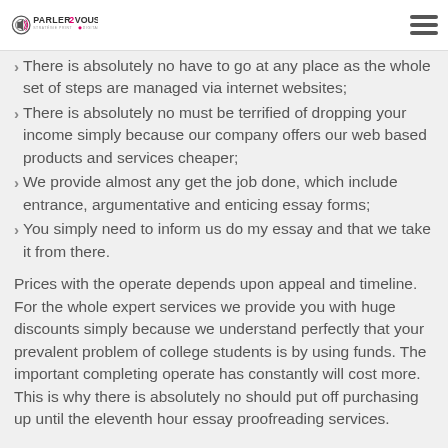PARLER2VOUS STRATEGIE PRINT & DIGITALE
There is absolutely no have to go at any place as the whole set of steps are managed via internet websites;
There is absolutely no must be terrified of dropping your income simply because our company offers our web based products and services cheaper;
We provide almost any get the job done, which include entrance, argumentative and enticing essay forms;
You simply need to inform us do my essay and that we take it from there.
Prices with the operate depends upon appeal and timeline. For the whole expert services we provide you with huge discounts simply because we understand perfectly that your prevalent problem of college students is by using funds. The important completing operate has constantly will cost more. This is why there is absolutely no should put off purchasing up until the eleventh hour essay proofreading services.